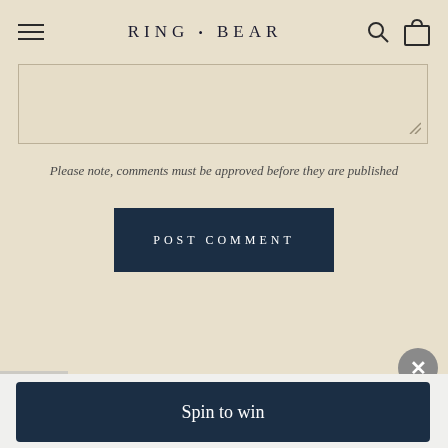RING • BEAR
[Figure (screenshot): Partial textarea input box with resize handle at bottom right]
Please note, comments must be approved before they are published
POST COMMENT
[Figure (infographic): Popup banner with gift icon, close button (X), 'WIN UP TO $100+ OFF' heading, and 'Spin to win' button]